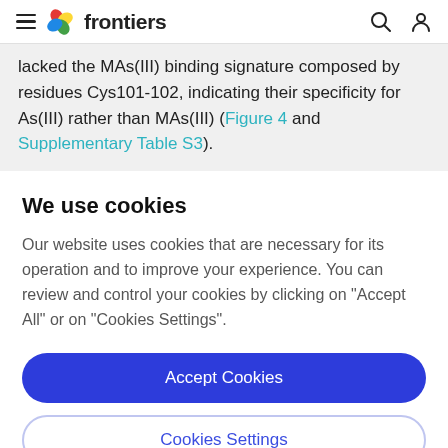frontiers
lacked the MAs(III) binding signature composed by residues Cys101-102, indicating their specificity for As(III) rather than MAs(III) (Figure 4 and Supplementary Table S3).
We use cookies
Our website uses cookies that are necessary for its operation and to improve your experience. You can review and control your cookies by clicking on "Accept All" or on "Cookies Settings".
Accept Cookies
Cookies Settings